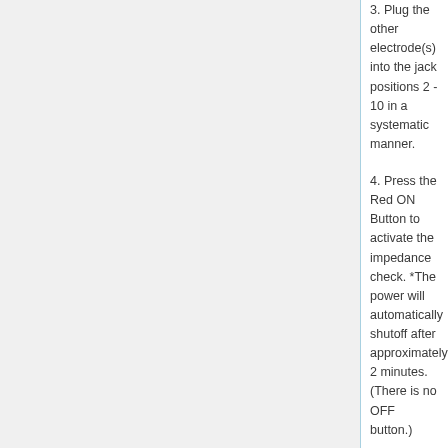3. Plug the other electrode(s) into the jack positions 2 - 10 in a systematic manner.
4. Press the Red ON Button to activate the impedance check. *The power will automatically shutoff after approximately 2 minutes. (There is no OFF button.)
5. If the